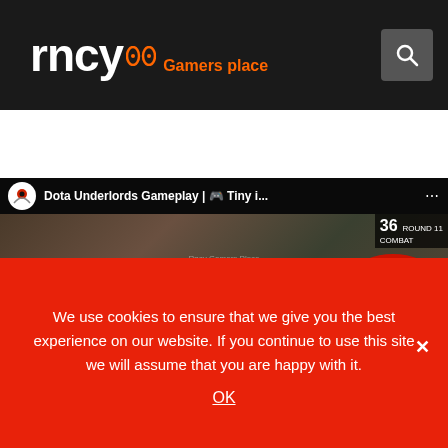rncy Gamers place
[Figure (screenshot): Video thumbnail for 'Dota Underlords Gameplay | Tiny i...' showing game scene with stars, play button, and red circular logo overlay]
We use cookies to ensure that we give you the best experience on our website. If you continue to use this site we will assume that you are happy with it.
OK